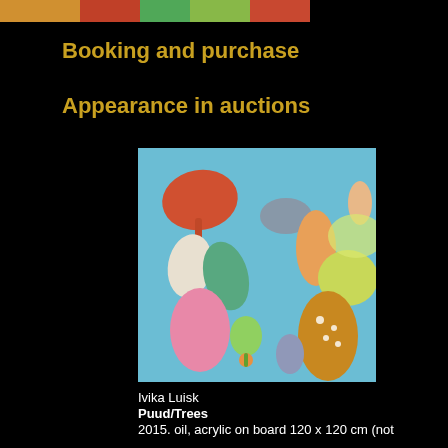[Figure (photo): Top portion of a colorful painting, cropped at the top of the page]
Booking and purchase
Appearance in auctions
[Figure (photo): Painting showing abstract colorful leaf and teardrop shapes on a light blue background — various colors including red, orange, pink, yellow, green, teal, and gold]
Ivika Luisk
Puud/Trees
2015. oil, acrylic on board 120 x 120 cm (not